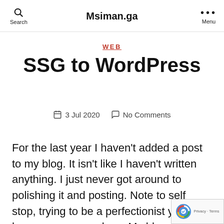Search   Msiman.ga   Menu
WEB
SSG to WordPress
3 Jul 2020   No Comments
For the last year I haven't added a post to my blog. It isn't like I haven't written anything. I just never got around to polishing it and posting. Note to self stop, trying to be a perfectionist you have never even close. My blog was running on Hugo, a very capable static site generator (SSG). I even posted about my move from Drupal. Now I find myself back to a dynamic site and